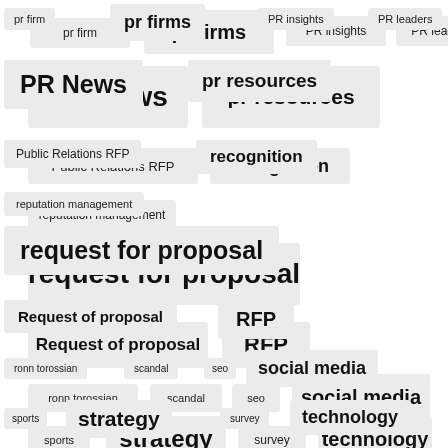[Figure (infographic): Tag cloud featuring PR and public relations related keywords in varying font sizes, displayed as pill-shaped gray tags arranged in rows. Tags include: pr firm, pr firms, PR insights, PR leaders, PR News, pr resources, Public Relations RFP, recognition, reputation management, request for proposal, Request of proposal, RFP, ronn torossian, scandal, seo, social media, sports, strategy, survey, technology, Twitter, Weber Shandwick]